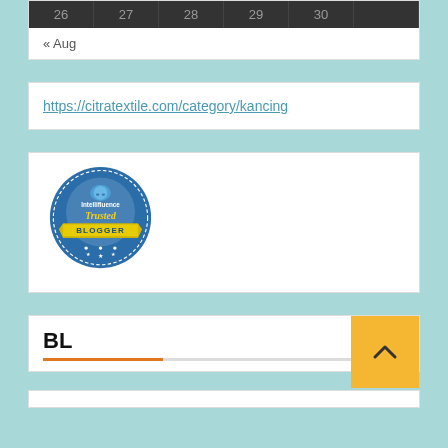| 26 | 27 | 28 | 29 | 30 |  |
| --- | --- | --- | --- | --- | --- |
|  |
« Aug
https://citratextile.com/category/kancing
[Figure (logo): Intellifluence Trusted Blogger badge — blue circular badge with yellow ribbon banner]
BL